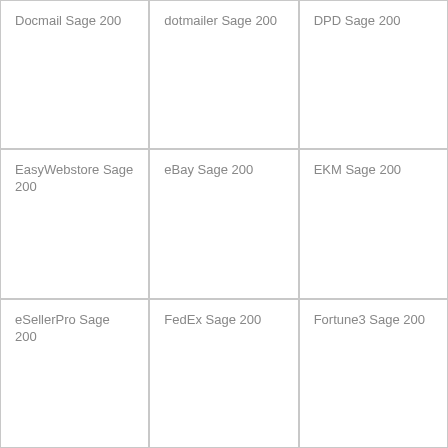Docmail Sage 200
dotmailer Sage 200
DPD Sage 200
EasyWebstore Sage 200
eBay Sage 200
EKM Sage 200
eSellerPro Sage 200
FedEx Sage 200
Fortune3 Sage 200